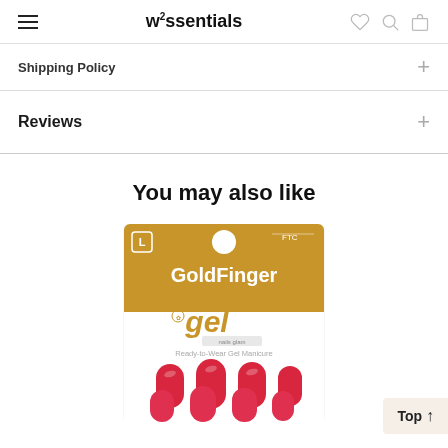w²ssentials (navigation header with hamburger menu, logo, wishlist, search, and cart icons)
Shipping Policy
Reviews
You may also like
[Figure (photo): GoldFinger gel Ready-to-Wear Gel Manicure product packaging showing red coffin-shaped press-on nails]